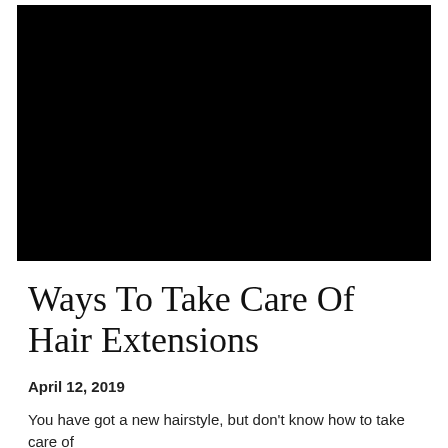[Figure (photo): Large black rectangular image, likely a photo of a hairstyle or hair extensions that is too dark to see detail.]
Ways To Take Care Of Hair Extensions
April 12, 2019
You have got a new hairstyle, but don't know how to take care of